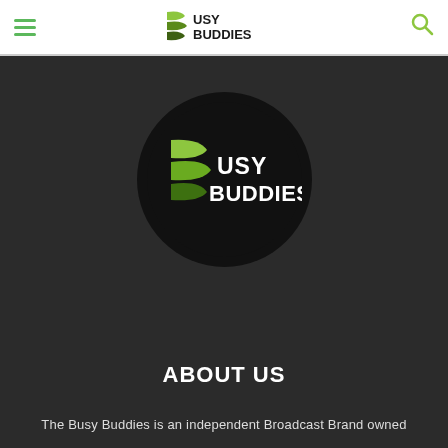Busy Buddies navigation bar with hamburger menu, logo, and search icon
[Figure (logo): Busy Buddies circular logo on black background with green stylized B and text BUSY BUDDIES in white]
ABOUT US
The Busy Buddies is an independent Broadcast Brand owned